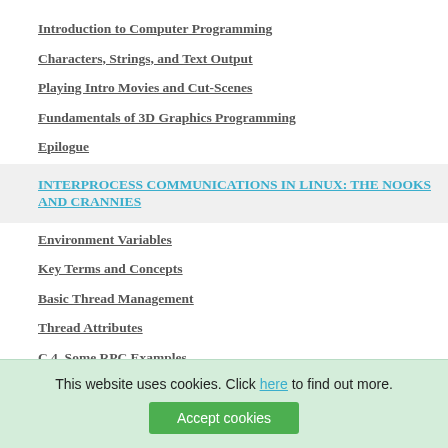Introduction to Computer Programming
Characters, Strings, and Text Output
Playing Intro Movies and Cut-Scenes
Fundamentals of 3D Graphics Programming
Epilogue
INTERPROCESS COMMUNICATIONS IN LINUX: THE NOOKS AND CRANNIES
Environment Variables
Key Terms and Concepts
Basic Thread Management
Thread Attributes
C.4. Some RPC Examples
IMAGE PROCESSING WITH LABVIEW AND IMAQ VISION
Line-Scan Cameras
Camera Interfaces and Protocols
Image Standards
Gr...
Ch...
This website uses cookies. Click here to find out more.